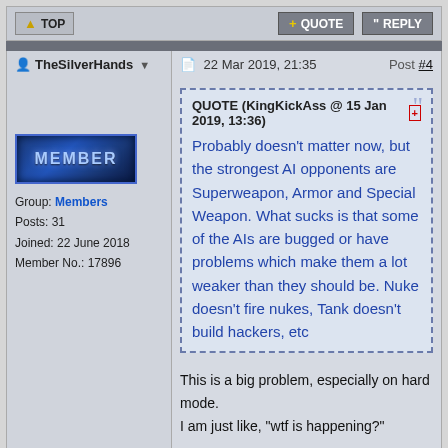TOP | + QUOTE | " REPLY
TheSilverHands | 22 Mar 2019, 21:35 | Post #4
[Figure (other): MEMBER badge graphic in blue metallic style]
Group: Members
Posts: 31
Joined: 22 June 2018
Member No.: 17896
QUOTE (KingKickAss @ 15 Jan 2019, 13:36) Probably doesn't matter now, but the strongest AI opponents are Superweapon, Armor and Special Weapon. What sucks is that some of the AIs are bugged or have problems which make them a lot weaker than they should be. Nuke doesn't fire nukes, Tank doesn't build hackers, etc
This is a big problem, especially on hard mode.
I am just like, "wtf is happening?"